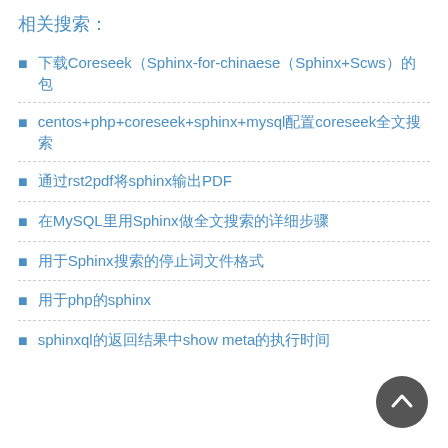相关搜索:
下载Coreseek（Sphinx-for-chinaese（Sphinx+Scws）的包
centos+php+coreseek+sphinx+mysql配置coreseek全文搜索
通过rst2pdf将sphinx输出PDF
在MySQL里用Sphinx做全文搜索的详细步骤
用于Sphinx搜索的停止词文件格式
用于php的sphinx
sphinxql的返回结果中show meta的执行时间